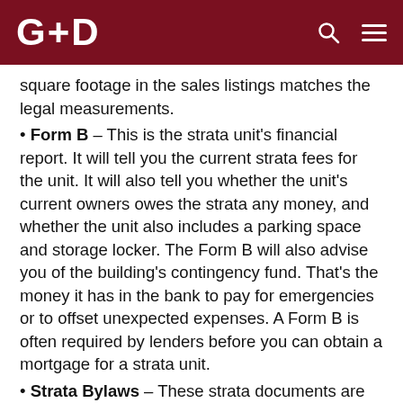G+D
square footage in the sales listings matches the legal measurements.
Form B – This is the strata unit's financial report. It will tell you the current strata fees for the unit. It will also tell you whether the unit's current owners owes the strata any money, and whether the unit also includes a parking space and storage locker. The Form B will also advise you of the building's contingency fund. That's the money it has in the bank to pay for emergencies or to offset unexpected expenses. A Form B is often required by lenders before you can obtain a mortgage for a strata unit.
Strata Bylaws – These strata documents are the rules everyone in the building must abide. This is where you